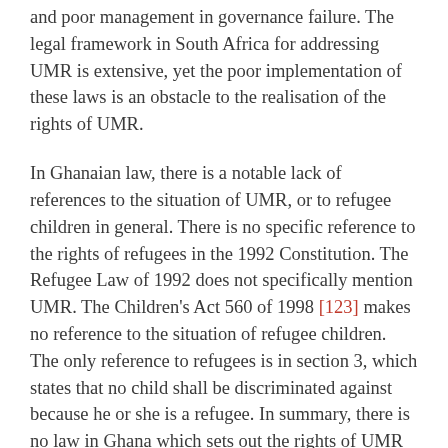and poor management in governance failure. The legal framework in South Africa for addressing UMR is extensive, yet the poor implementation of these laws is an obstacle to the realisation of the rights of UMR.
In Ghanaian law, there is a notable lack of references to the situation of UMR, or to refugee children in general. There is no specific reference to the rights of refugees in the 1992 Constitution. The Refugee Law of 1992 does not specifically mention UMR. The Children's Act 560 of 1998 [123] makes no reference to the situation of refugee children. The only reference to refugees is in section 3, which states that no child shall be discriminated against because he or she is a refugee. In summary, there is no law in Ghana which sets out the rights of UMR or establishes what policy or guidelines will guide involved parties in the protection and treatment of UMR. This gap in the legal framework governing refugee children in Ghana, certainly obstructs and inhibits